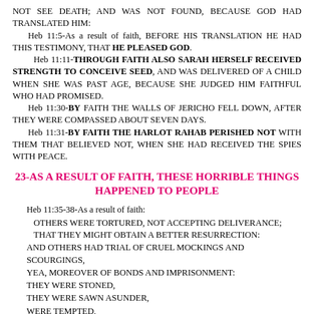NOT SEE DEATH; AND WAS NOT FOUND, BECAUSE GOD HAD TRANSLATED HIM:
    Heb 11:5-As a result of faith, BEFORE HIS TRANSLATION HE HAD THIS TESTIMONY, THAT HE PLEASED GOD.
    Heb 11:11-THROUGH FAITH ALSO SARAH HERSELF RECEIVED STRENGTH TO CONCEIVE SEED, AND WAS DELIVERED OF A CHILD WHEN SHE WAS PAST AGE, BECAUSE SHE JUDGED HIM FAITHFUL WHO HAD PROMISED.
    Heb 11:30-BY FAITH THE WALLS OF JERICHO FELL DOWN, AFTER THEY WERE COMPASSED ABOUT SEVEN DAYS.
    Heb 11:31-BY FAITH THE HARLOT RAHAB PERISHED NOT WITH THEM THAT BELIEVED NOT, WHEN SHE HAD RECEIVED THE SPIES WITH PEACE.
23-AS A RESULT OF FAITH, THESE HORRIBLE THINGS HAPPENED TO PEOPLE
Heb 11:35-38-As a result of faith:
OTHERS WERE TORTURED, NOT ACCEPTING DELIVERANCE; THAT THEY MIGHT OBTAIN A BETTER RESURRECTION:
AND OTHERS HAD TRIAL OF CRUEL MOCKINGS AND SCOURGINGS,
YEA, MOREOVER OF BONDS AND IMPRISONMENT:
THEY WERE STONED,
THEY WERE SAWN ASUNDER,
WERE TEMPTED,
WERE SLAIN WITH THE SWORD:
THEY WANDERED ABOUT IN SHEEPSKINS AND GOATSKINS;
BEING DESTITUTE, AFFLICTED, TORMENTED; (OF WHOM THE